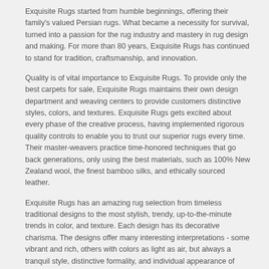Exquisite Rugs started from humble beginnings, offering their family's valued Persian rugs. What became a necessity for survival, turned into a passion for the rug industry and mastery in rug design and making. For more than 80 years, Exquisite Rugs has continued to stand for tradition, craftsmanship, and innovation.
Quality is of vital importance to Exquisite Rugs. To provide only the best carpets for sale, Exquisite Rugs maintains their own design department and weaving centers to provide customers distinctive styles, colors, and textures. Exquisite Rugs gets excited about every phase of the creative process, having implemented rigorous quality controls to enable you to trust our superior rugs every time. Their master-weavers practice time-honored techniques that go back generations, only using the best materials, such as 100% New Zealand wool, the finest bamboo silks, and ethically sourced leather.
Exquisite Rugs has an amazing rug selection from timeless traditional designs to the most stylish, trendy, up-to-the-minute trends in color, and texture. Each design has its decorative charisma. The designs offer many interesting interpretations - some vibrant and rich, others with colors as light as air, but always a tranquil style, distinctive formality, and individual appearance of style and comfort.